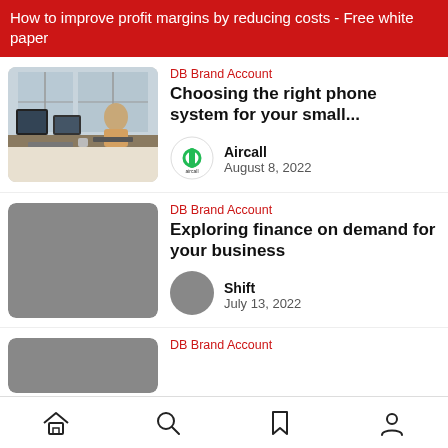How to improve profit margins by reducing costs - Free white paper
DB Brand Account
Choosing the right phone system for your small...
Aircall
August 8, 2022
[Figure (photo): Office scene with person working at desk with computer monitors]
DB Brand Account
Exploring finance on demand for your business
Shift
July 13, 2022
[Figure (photo): Gray placeholder thumbnail for article]
DB Brand Account
[Figure (photo): Gray placeholder thumbnail for third article]
Home | Search | Bookmark | Profile